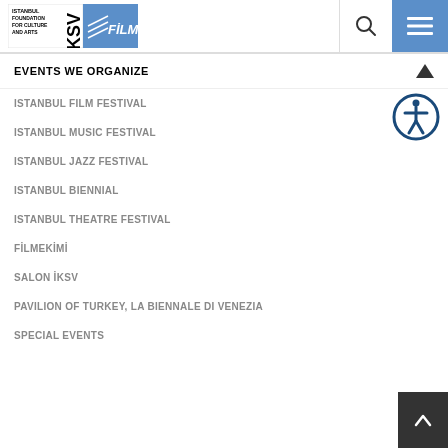IKSV FILM — Istanbul Foundation for Culture and Arts
EVENTS WE ORGANIZE
ISTANBUL FILM FESTIVAL
ISTANBUL MUSIC FESTIVAL
ISTANBUL JAZZ FESTIVAL
ISTANBUL BIENNIAL
ISTANBUL THEATRE FESTIVAL
FİLMEKİMİ
SALON İKSV
PAVILION OF TURKEY, LA BIENNALE DI VENEZIA
SPECIAL EVENTS